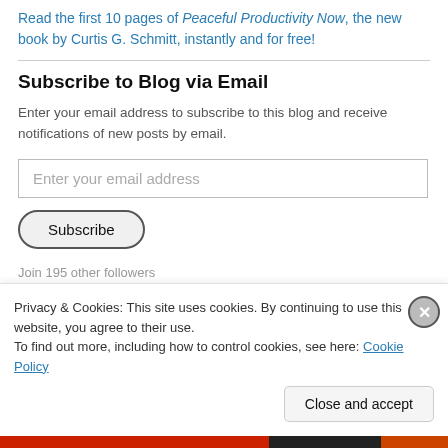Read the first 10 pages of Peaceful Productivity Now, the new book by Curtis G. Schmitt, instantly and for free!
Subscribe to Blog via Email
Enter your email address to subscribe to this blog and receive notifications of new posts by email.
Enter your email address
Subscribe
Join 195 other followers
Privacy & Cookies: This site uses cookies. By continuing to use this website, you agree to their use.
To find out more, including how to control cookies, see here: Cookie Policy
Close and accept